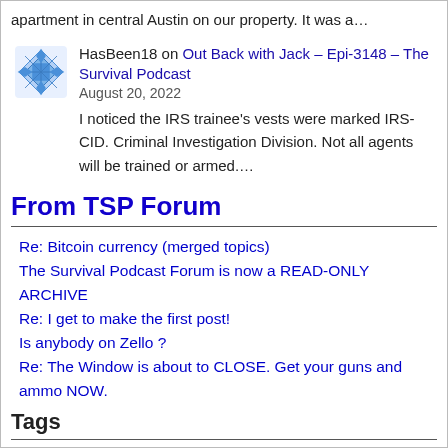apartment in central Austin on our property. It was a…
HasBeen18 on Out Back with Jack – Epi-3148 – The Survival Podcast
August 20, 2022
I noticed the IRS trainee's vests were marked IRS-CID. Criminal Investigation Division. Not all agents will be trained or armed….
From TSP Forum
Re: Bitcoin currency (merged topics)
The Survival Podcast Forum is now a READ-ONLY ARCHIVE
Re: I get to make the first post!
Is anybody on Zello ?
Re: The Window is about to CLOSE. Get your guns and ammo NOW.
Tags
alternative energy
amazon item fo the day